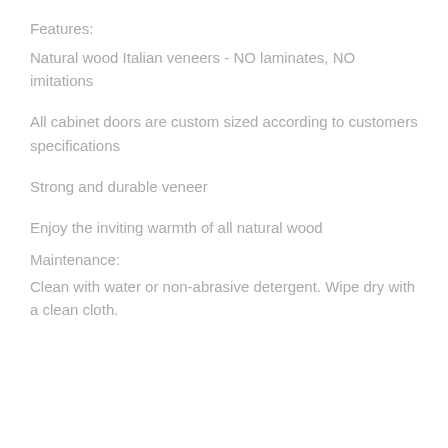Features:
Natural wood Italian veneers - NO laminates, NO imitations
All cabinet doors are custom sized according to customers specifications
Strong and durable veneer
Enjoy the inviting warmth of all natural wood
Maintenance:
Clean with water or non-abrasive detergent. Wipe dry with a clean cloth.